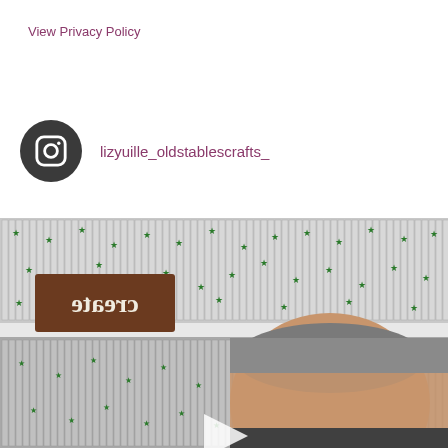View Privacy Policy
lizyuille_oldstablescrafts_
[Figure (photo): A selfie photo of a middle-aged man with short grey hair in front of shelves filled with craft supplies (card stock/paper packs with green star decorations). A brown wooden sign reading 'create' is visible on the shelf. A video play button triangle is overlaid at the bottom center.]